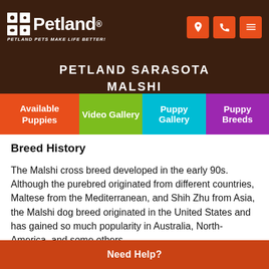Petland — PETLAND PETS MAKE LIFE BETTER!
PETLAND SARASOTA MALSHI
[Figure (infographic): Navigation bar with four colored tabs: Available Puppies (orange), Video Gallery (green), Puppy Gallery (teal), Puppy Breeds (purple)]
Breed History
The Malshi cross breed developed in the early 90s. Although the purebred originated from different countries, Maltese from the Mediterranean, and Shih Zhu from Asia, the Malshi dog breed originated in the United States and has gained so much popularity in Australia, North-America, and some others.
This fluffy cute dog was designed to be a minimum shedding breed. The Malshi hybrid turned out to be
Need Help?